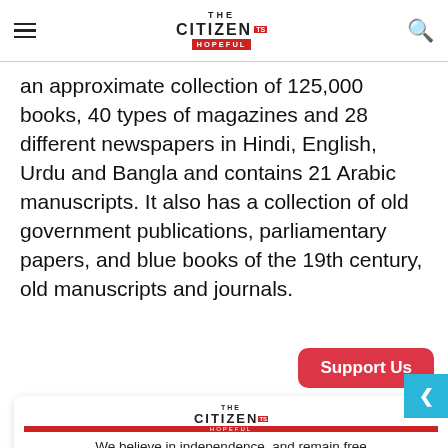THE CITIZEN IS HOPEFUL
an approximate collection of 125,000 books, 40 types of magazines and 28 different newspapers in Hindi, English, Urdu and Bangla and contains 21 Arabic manuscripts. It also has a collection of old government publications, parliamentary papers, and blue books of the 19th century, old manuscripts and journals.
Support Us
[Figure (logo): The Citizen Is Hopeful logo - small version inside donation card]
We believe in independence, and remain free from political or corporate funding. Consider making a donation to help secure our future.
US$ 4   US$ 10   US$ 70